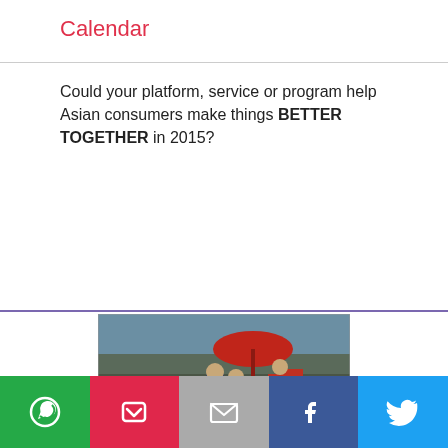Calendar
Could your platform, service or program help Asian consumers make things BETTER TOGETHER in 2015?
[Figure (photo): Large crowd of people gathered at an outdoor event; a military officer and others visible in the center; red umbrella visible at top; people reaching out and taking photos.]
Social sharing buttons: WhatsApp, Pocket, Email, Facebook, Twitter